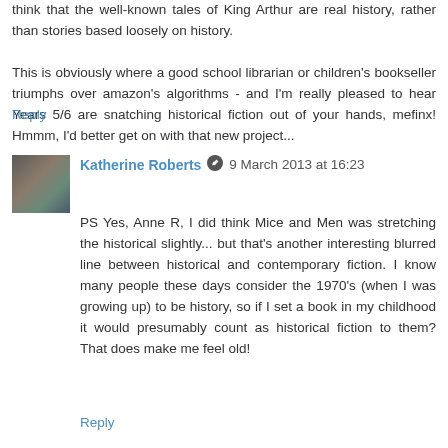think that the well-known tales of King Arthur are real history, rather than stories based loosely on history.
This is obviously where a good school librarian or children's bookseller triumphs over amazon's algorithms - and I'm really pleased to hear Years 5/6 are snatching historical fiction out of your hands, mefinx! Hmmm, I'd better get on with that new project...
Reply
Katherine Roberts 9 March 2013 at 16:23
PS Yes, Anne R, I did think Mice and Men was stretching the historical slightly... but that's another interesting blurred line between historical and contemporary fiction. I know many people these days consider the 1970's (when I was growing up) to be history, so if I set a book in my childhood it would presumably count as historical fiction to them? That does make me feel old!
Reply